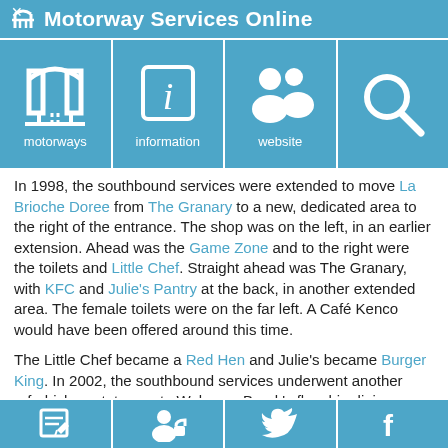Motorway Services Online
[Figure (infographic): Navigation bar with four icons: motorways (road/tunnel icon), information (italic i in box), website (two people silhouette), and search (magnifying glass)]
In 1998, the southbound services were extended to move La Brioche Doree from The Granary to a new, dedicated area to the right of the entrance. The shop was on the left, in an earlier extension. Ahead was the Game Zone and to the right were the toilets and Little Chef. Straight ahead was The Granary, with KFC and Julie's Pantry at the back, in another extended area. The female toilets were on the far left. A Café Kenco would have been offered around this time.
The Little Chef became a Red Hen and Julie's became Burger King. In 2002, the southbound services underwent another refurbishment, to create Welcome Break's flagship dining area. Under this, The Granary became Food Connection, and the Red Hen was closed and sealed off with the Game Zone gambling area moved to block it. A second video game area was created on the far left, while the old Game Zone became part of the main passageway. La Brioche Doree was supposed to become a coffee shop named Fastlane, but actually became Coffee Express.
Some time after this, things were moved around again. The gents